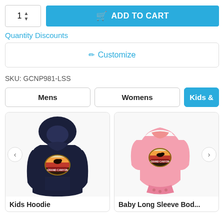[Figure (screenshot): Quantity selector box showing '1' with up/down arrows]
[Figure (screenshot): Blue 'ADD TO CART' button with shopping cart icon]
Quantity Discounts
✏ Customize
SKU: GCNP981-LSS
Mens
Womens
Kids &
[Figure (photo): Dark navy blue kids hoodie with Grand Canyon National Park logo graphic on chest]
Kids Hoodie
[Figure (photo): Pink baby long sleeve bodysuit with Grand Canyon National Park logo graphic on chest]
Baby Long Sleeve Bod...